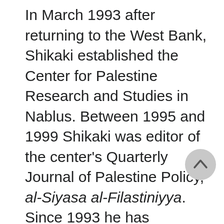In March 1993 after returning to the West Bank, Shikaki established the Center for Palestine Research and Studies in Nablus. Between 1995 and 1999 Shikaki was editor of the center's Quarterly Journal of Palestine Policy, al-Siyasa al-Filastiniyya. Since 1993 he has conducted numerous public opinion polls and published many articles (some jointly with Israeli and other Palestinian scholars) about Palestinian politics and the Israeli-Palestinian peace process. Shikaki